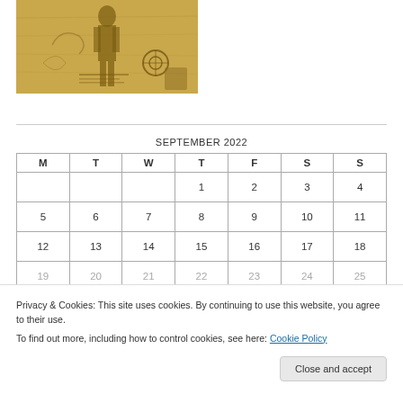[Figure (illustration): Vintage sepia-toned illustration of a figure in old-fashioned attire, possibly a soldier or adventurer, with mechanical/steampunk elements on a aged parchment background]
| M | T | W | T | F | S | S |
| --- | --- | --- | --- | --- | --- | --- |
|  |  |  | 1 | 2 | 3 | 4 |
| 5 | 6 | 7 | 8 | 9 | 10 | 11 |
| 12 | 13 | 14 | 15 | 16 | 17 | 18 |
| 19 | 20 | 21 | 22 | 23 | 24 | 25 |
Privacy & Cookies: This site uses cookies. By continuing to use this website, you agree to their use. To find out more, including how to control cookies, see here: Cookie Policy